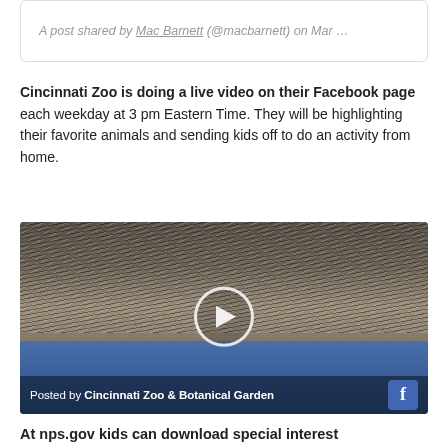A post shared by Mac Barnett (@macbarnett) on Mar …
Cincinnati Zoo is doing a live video on their Facebook page each weekday at 3 pm Eastern Time. They will be highlighting their favorite animals and sending kids off to do an activity from home.
[Figure (photo): A hedgehog curled up, viewed from above on a carpet with a person wearing jeans, showing a video player overlay with a play button and a footer reading 'Posted by Cincinnati Zoo & Botanical Garden' with a Facebook icon.]
At nps.gov kids can download special interest